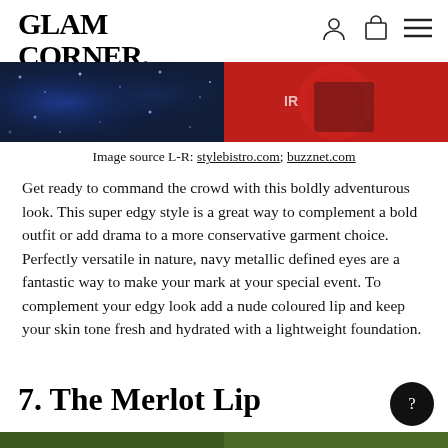GLAM CORNER.
[Figure (photo): Two-panel image strip: left panel shows blue/navy sequined fabric, right panel shows a red circle/sign with dark fabric]
Image source L-R: stylebistro.com; buzznet.com
Get ready to command the crowd with this boldly adventurous look. This super edgy style is a great way to complement a bold outfit or add drama to a more conservative garment choice. Perfectly versatile in nature, navy metallic defined eyes are a fantastic way to make your mark at your special event. To complement your edgy look add a nude coloured lip and keep your skin tone fresh and hydrated with a lightweight foundation.
7. The Merlot Lip
[Figure (photo): Bottom partial image strip showing green/outdoor photography]